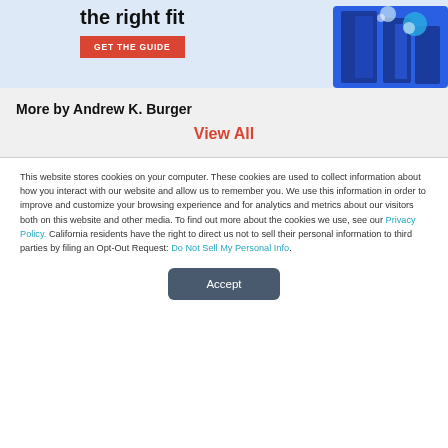[Figure (screenshot): Banner with bold text 'the right fit', a red GET THE GUIDE button, and a building/cloud graphic on a light blue background]
More by Andrew K. Burger
View All
This website stores cookies on your computer. These cookies are used to collect information about how you interact with our website and allow us to remember you. We use this information in order to improve and customize your browsing experience and for analytics and metrics about our visitors both on this website and other media. To find out more about the cookies we use, see our Privacy Policy. California residents have the right to direct us not to sell their personal information to third parties by filing an Opt-Out Request: Do Not Sell My Personal Info.
Accept